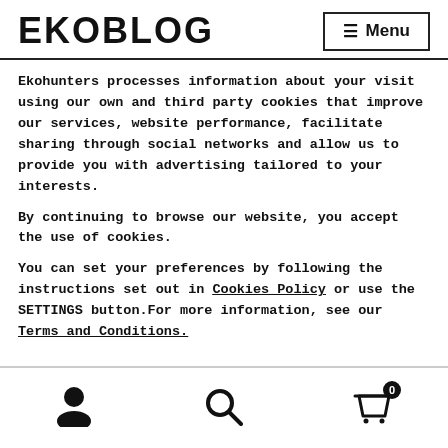EKOBLOG  ≡ Menu
Ekohunters processes information about your visit using our own and third party cookies that improve our services, website performance, facilitate sharing through social networks and allow us to provide you with advertising tailored to your interests.
By continuing to browse our website, you accept the use of cookies.
You can set your preferences by following the instructions set out in Cookies Policy or use the SETTINGS button.For more information, see our Terms and Conditions.
Accept  Decline  Settings  ×
User icon  Search icon  Cart icon (0)